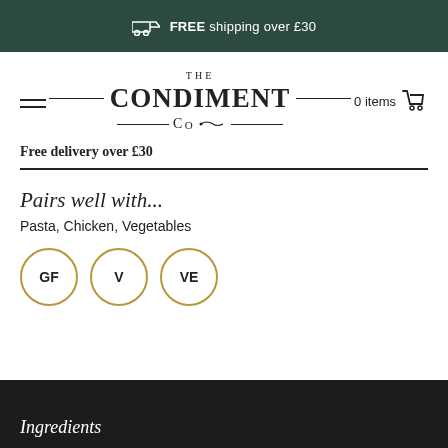FREE shipping over £30
[Figure (logo): The Condiment Co. logo with decorative lines and spoon motif]
Free delivery over £30
Pairs well with...
Pasta, Chicken, Vegetables
[Figure (infographic): Three circular badges: GF, V, VE indicating Gluten Free, Vegetarian, Vegan]
Ingredients